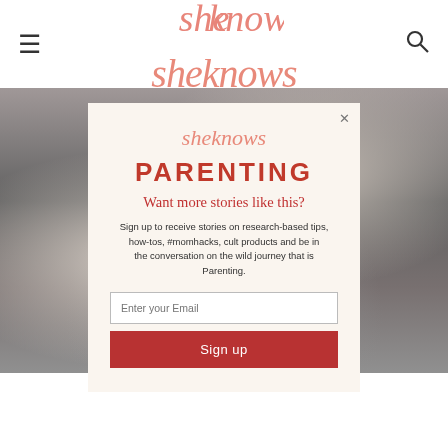sheknows (logo navigation bar with hamburger menu and search icon)
[Figure (photo): Grayscale background photo of a child playing or being bathed, with adult hands visible]
[Figure (screenshot): Modal popup newsletter signup overlay. Contains sheknows logo, PARENTING heading, 'Want more stories like this?', body text about signing up for research-based tips, how-tos, #momhacks, cult products and parenting journey, an email input field, and a Sign up button.]